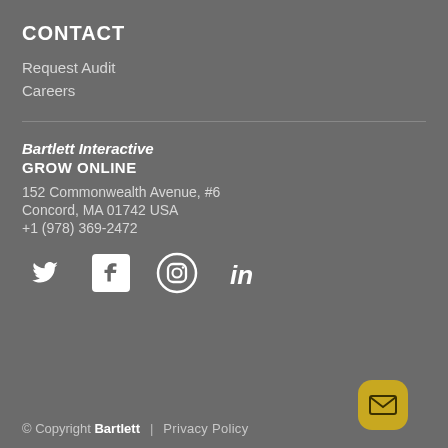CONTACT
Request Audit
Careers
Bartlett Interactive
GROW ONLINE
152 Commonwealth Avenue, #6
Concord, MA 01742 USA
+1 (978) 369-2472
[Figure (logo): Social media icons: Twitter, Facebook, Instagram, LinkedIn]
© Copyright Bartlett  |  Privacy Policy